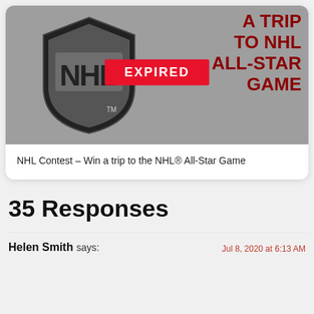[Figure (photo): NHL Contest promotional image showing the NHL shield logo on a gray background with red text reading 'A TRIP TO NHL ALL-STAR GAME' and a red EXPIRED banner overlaid in the center]
NHL Contest – Win a trip to the NHL® All-Star Game
35 Responses
Helen Smith says:
Jul 8, 2020 at 6:13 AM